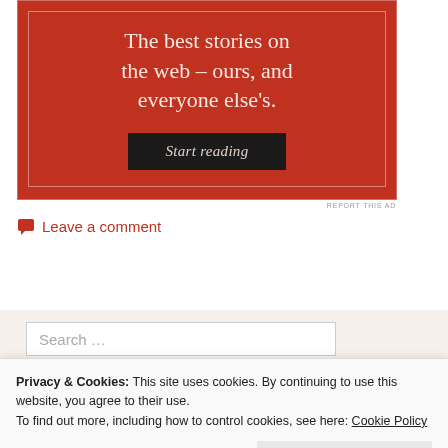[Figure (other): Red advertisement banner with white serif text reading 'The best stories on the web – ours, and everyone else's.' and a dark 'Start reading' button]
REPORT THIS AD
Leave a comment
Search …
Privacy & Cookies: This site uses cookies. By continuing to use this website, you agree to their use.
To find out more, including how to control cookies, see here: Cookie Policy
Close and accept